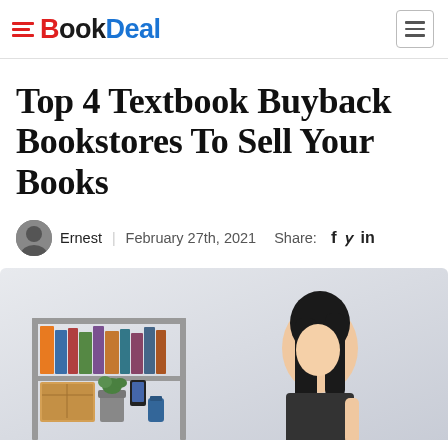BookDeal
Top 4 Textbook Buyback Bookstores To Sell Your Books
Ernest | February 27th, 2021  Share:  f  y  in
[Figure (photo): Photo of a woman with long dark hair looking down at a desk, with a bookshelf holding books and boxes on the left side, against a light grey background.]